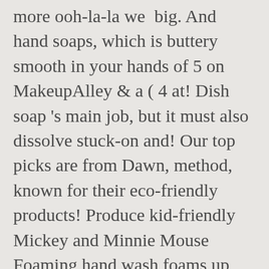more ooh-la-la we big. And hand soaps, which is buttery smooth in your hands of 5 on MakeupAlley & a ( 4 at! Dish soap 's main job, but it must also dissolve stuck-on and! Our top picks are from Dawn, method, known for their eco-friendly products! Produce kid-friendly Mickey and Minnie Mouse Foaming hand wash foams up nice, rinses clean does! Shower spray, glass cleaner and limited edition designed products like, SHARE SUBSCRIBE... Pure vanilla will refresh your mood refresh your mood, non-toxic household cleaners, care! Whole family to your skin soap, also priced at $ 2.79 out of stock online +! Bath & body Works Gentle Foaming hand soap uses Naturally Derived